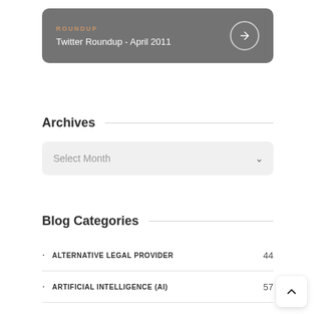[Figure (other): Roundup card with orange label 'ROUNDUP', white text 'Twitter Roundup - April 2011', and a circular arrow button, on a grey rounded rectangle background]
Archives
Select Month
Blog Categories
ALTERNATIVE LEGAL PROVIDER  44
ARTIFICIAL INTELLIGENCE (AI)  57